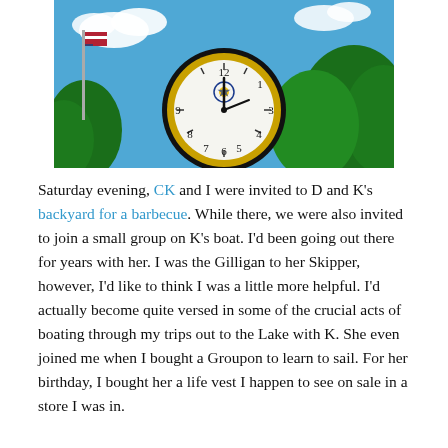[Figure (photo): Close-up photograph of a large outdoor clock on a post, showing a white clock face with black numerals and a Rotary International emblem at the top center. The background shows blue sky with white clouds and green trees. An American flag is partially visible on the left side.]
Saturday evening, CK and I were invited to D and K's backyard for a barbecue. While there, we were also invited to join a small group on K's boat. I'd been going out there for years with her. I was the Gilligan to her Skipper, however, I'd like to think I was a little more helpful. I'd actually become quite versed in some of the crucial acts of boating through my trips out to the Lake with K. She even joined me when I bought a Groupon to learn to sail. For her birthday, I bought her a life vest I happen to see on sale in a store I was in.